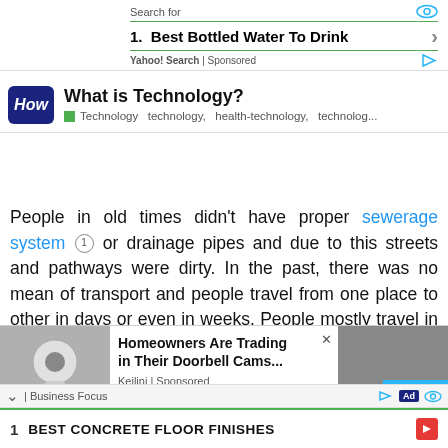[Figure (screenshot): Yahoo Search sponsored ad banner: 'Search for' header with eye icon, result '1. Best Bottled Water To Drink' with chevron, 'Yahoo! Search | Sponsored' footer with play icon]
[Figure (screenshot): HowTo card with blue 'How' logo, title 'What is Technology?', tags: Technology, technology, health-technology, technolog...]
People in old times didn't have proper sewerage system 1 or drainage pipes and due to this streets and pathways were dirty. In the past, there was no mean of transport and people travel from one place to other in days or even in weeks. People mostly travel in Caravan because they didn't have safety and proper place to keep their luggage. People mostly used camels, horses for their transport.
[Figure (screenshot): Bottom advertisement area: left camera product image, center ad 'Homeowners Are Trading in Their Doorbell Cams...' by Keilini | Sponsored with close X, right image with 'Back' blue button. Below: search bar with chevron, Business Focus, Ad tag, eye icon. Bottom row: 1 BEST CONCRETE FLOOR FINISHES with red arrow.]